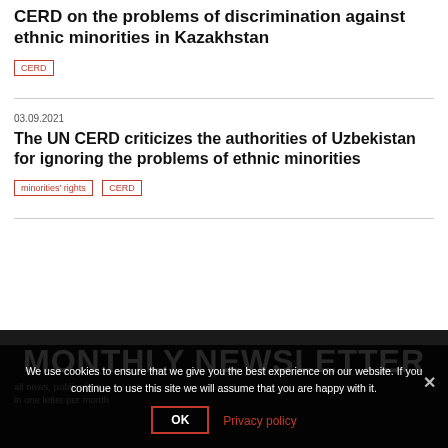CERD on the problems of discrimination against ethnic minorities in Kazakhstan
CERD
03.09.2021
The UN CERD criticizes the authorities of Uzbekistan for ignoring the problems of ethnic minorities
minorities' rights
CERD
MONTHLY NEWSLETTER
all news, publications...
in one letter per month
We use cookies to ensure that we give you the best experience on our website. If you continue to use this site we will assume that you are happy with it.
OK
Privacy policy